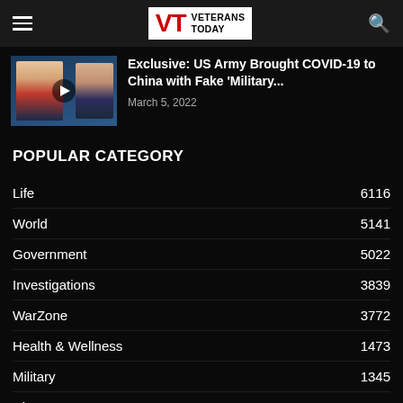VETERANS TODAY
Exclusive: US Army Brought COVID-19 to China with Fake 'Military...
March 5, 2022
POPULAR CATEGORY
Life 6116
World 5141
Government 5022
Investigations 3839
WarZone 3772
Health & Wellness 1473
Military 1345
History 1195